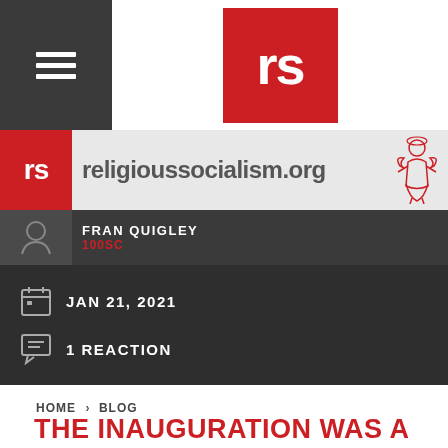[Figure (logo): rs logo in red square]
[Figure (logo): religioussocialism.org banner with rs logo and angel illustration]
FRAN QUIGLEY
100SC
JAN 21, 2021
1 REACTION
HOME > BLOG
THE INAUGURATION WAS A